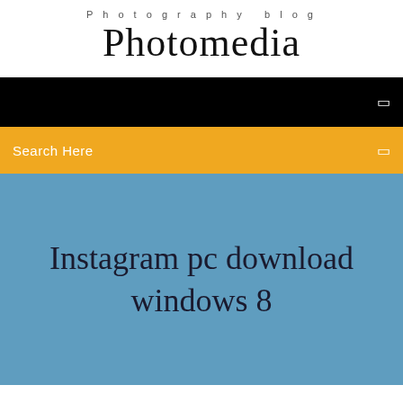Photography blog
Photomedia
[Figure (screenshot): Black navigation bar with a small white menu icon on the right]
Search Here
Instagram pc download windows 8